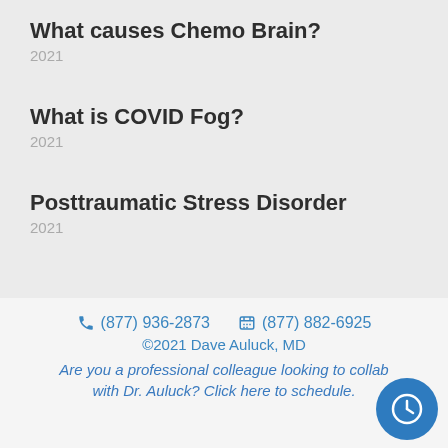What causes Chemo Brain?
2021
What is COVID Fog?
2021
Posttraumatic Stress Disorder
2021
(877) 936-2873   (877) 882-6925
©2021 Dave Auluck, MD
Are you a professional colleague looking to collaborate with Dr. Auluck? Click here to schedule.